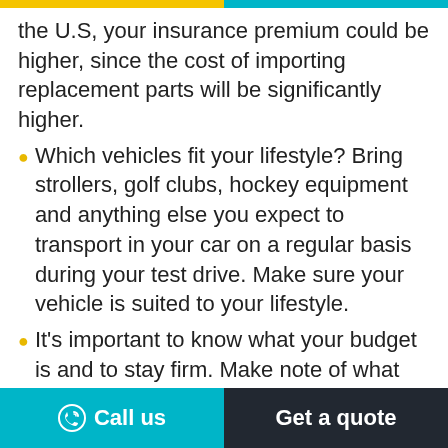the U.S, your insurance premium could be higher, since the cost of importing replacement parts will be significantly higher.
Which vehicles fit your lifestyle? Bring strollers, golf clubs, hockey equipment and anything else you expect to transport in your car on a regular basis during your test drive. Make sure your vehicle is suited to your lifestyle.
It's important to know what your budget is and to stay firm. Make note of what your insurance payments and any financing costs will be so you are prepared to handle
Call us    Get a quote